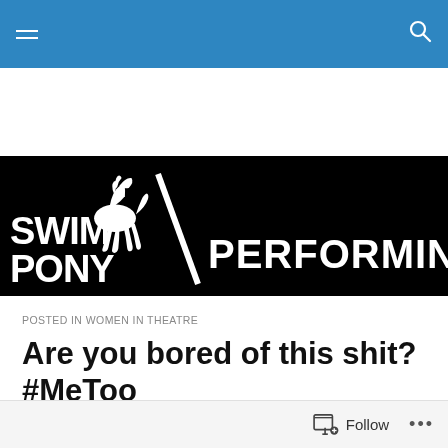Menu / Search
[Figure (logo): Swim Pony Performing Arts logo — white horse and text on black background with diagonal slash]
POSTED IN WOMEN IN THEATRE
Are you bored of this shit? #MeToo
I am SO tired of shitty stories about women.
Follow ...